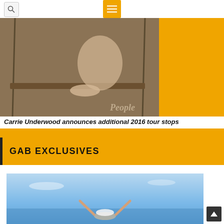Search and Menu navigation bar
[Figure (photo): Woman with curly blonde hair sitting on a wooden swing/bench on a porch, wearing white top and denim shorts, barefoot. Photo credit: People magazine. Right portion of banner is solid orange.]
Carrie Underwood announces additional 2016 tour stops
GAB EXCLUSIVES
[Figure (photo): Person with arms raised wide open against a blue sky background, wearing a white hat, viewed from behind near the sea.]